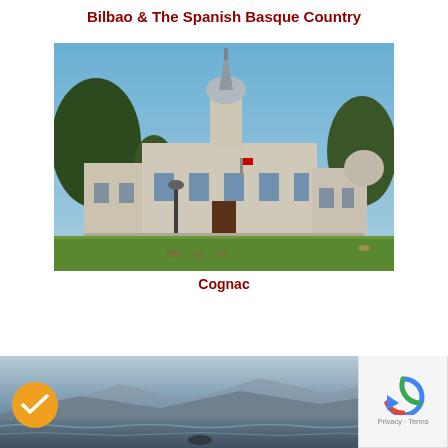Bilbao & The Spanish Basque Country
[Figure (photo): Photograph of a classical stone building in Cognac, France, with a central tower and spire, surrounded by trees and a green lawn, under a blue sky.]
Cognac
[Figure (photo): Partial photograph of a coastal seascape with mountains in the misty background, waves in the foreground. A reCAPTCHA widget and a yellow checkmark badge are overlaid.]